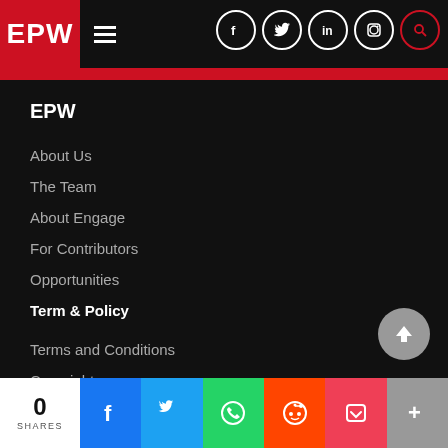[Figure (screenshot): EPW website header with logo, hamburger menu, and social media icons (Facebook, Twitter, LinkedIn, Instagram, Search)]
EPW
About Us
The Team
About Engage
For Contributors
Opportunities
Term & Policy
Terms and Conditions
Copyright
Privacy Policy
Style Sheet
0 SHARES | Facebook | Twitter | WhatsApp | Reddit | Pocket | More